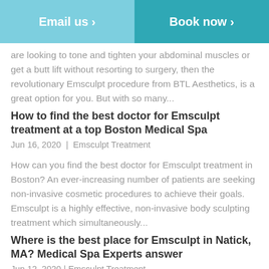Email us >  Book now >
are looking to tone and tighten your abdominal muscles or get a butt lift without resorting to surgery, then the revolutionary Emsculpt procedure from BTL Aesthetics, is a great option for you. But with so many...
How to find the best doctor for Emsculpt treatment at a top Boston Medical Spa
Jun 16, 2020 | Emsculpt Treatment
How can you find the best doctor for Emsculpt treatment in Boston? An ever-increasing number of patients are seeking non-invasive cosmetic procedures to achieve their goals. Emsculpt is a highly effective, non-invasive body sculpting treatment which simultaneously...
Where is the best place for Emsculpt in Natick, MA? Medical Spa Experts answer
Jun 12, 2020 | Emsculpt Treatment
Where is the best place for Emsculpt in Natick, MA?